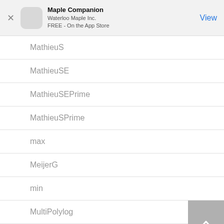Maple Companion
Waterloo Maple Inc.
FREE - On the App Store
MathieuS
MathieuSE
MathieuSEPrime
MathieuSPrime
max
MeijerG
min
MultiPolylog
MultiZeta